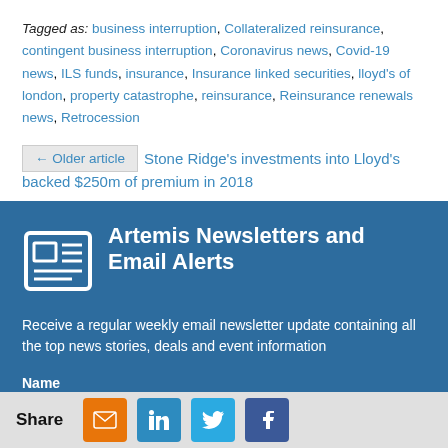Tagged as: business interruption, Collateralized reinsurance, contingent business interruption, Coronavirus news, Covid-19 news, ILS funds, insurance, Insurance linked securities, lloyd's of london, property catastrophe, reinsurance, Reinsurance renewals news, Retrocession
← Older article  Stone Ridge's investments into Lloyd's backed $250m of premium in 2018
Artemis Newsletters and Email Alerts
Receive a regular weekly email newsletter update containing all the top news stories, deals and event information
Name
Share